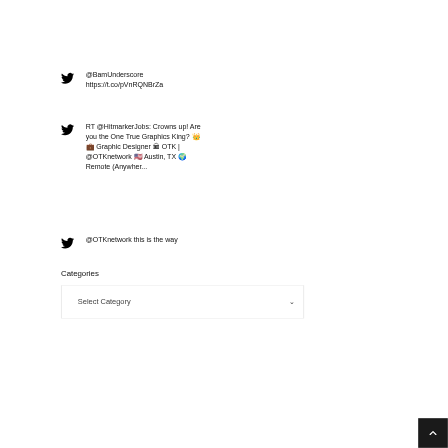@BamUnderscore https://t.co/pVnRQNBrZa
RT @HitmarkerJobs: Crowns up! Are you the One True Graphics King? 👑 💼 Graphic Designer 🏛 OTK | @OTKnetwork 🇺🇸 Austin, TX 🌍 Remote (Anywher...
@OTKnetwork this is the way
Categories
Select Category